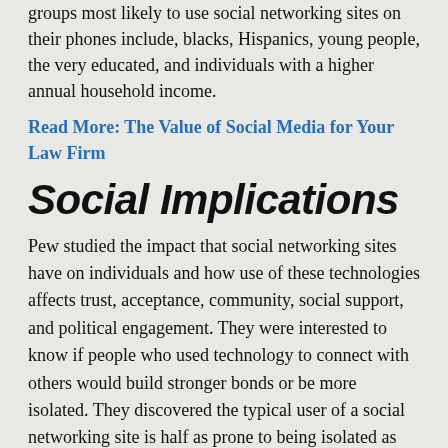groups most likely to use social networking sites on their phones include, blacks, Hispanics, young people, the very educated, and individuals with a higher annual household income.
Read More: The Value of Social Media for Your Law Firm
Social Implications
Pew studied the impact that social networking sites have on individuals and how use of these technologies affects trust, acceptance, community, social support, and political engagement. They were interested to know if people who used technology to connect with others would build stronger bonds or be more isolated. They discovered the typical user of a social networking site is half as prone to being isolated as the average American and has more close ties.
In addition, being on a relationship Facebook...